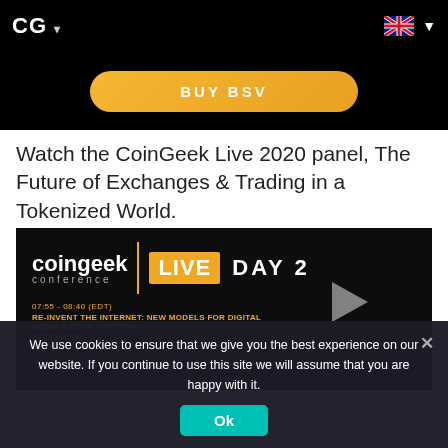CG ▾
BUY BSV
Watch the CoinGeek Live 2020 panel, The Future of Exchanges & Trading in a Tokenized World.
[Figure (screenshot): CoinGeek Live Day 2 conference video thumbnail showing 'coingeek conference | LIVE DAY 2' branding on dark background with session info: 07:55 - 08:40 (EDT), RE-INVENT THE INTERNET: NEW MODELS FOR DIGITAL MEDIA & USER CONTENT, MODERATOR: JIMMY NGUYEN, Founding President, Bitcoin Association]
We use cookies to ensure that we give you the best experience on our website. If you continue to use this site we will assume that you are happy with it.
Ok